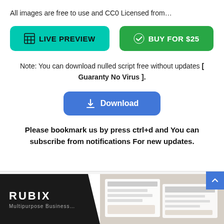All images are free to use and CC0 Licensed from…
[Figure (other): LIVE PREVIEW button (teal/cyan) and BUY FOR $25 button (green) side by side]
Note: You can download nulled script free without updates [ Guaranty No Virus ].
[Figure (other): Download button (blue) with down-arrow icon]
Please bookmark us by press ctrl+d and You can subscribe from notifications For new updates.
[Figure (other): Bottom banner showing RUBIX logo on dark background and product preview images on right side]